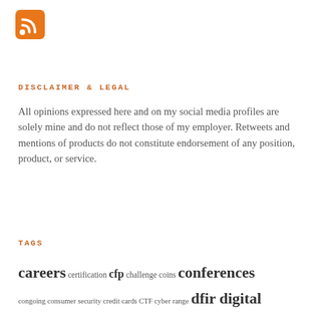[Figure (logo): RSS feed icon — orange rounded square with white RSS symbol]
DISCLAIMER & LEGAL
All opinions expressed here and on my social media profiles are solely mine and do not reflect those of my employer. Retweets and mentions of products do not constitute endorsement of any position, product, or service.
TAGS
careers certification cfp challenge coins conferences congoing consumer security credit cards CTF cyber range dfir digital forensics education equifax featured ff giac